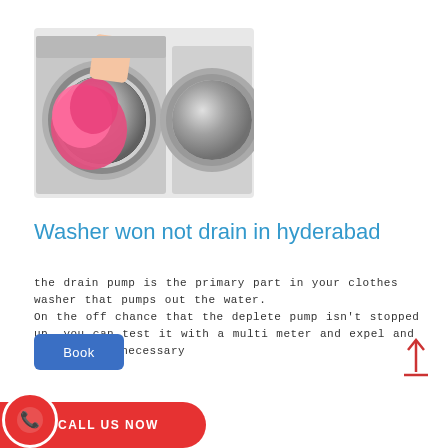[Figure (photo): Photo of a person pulling pink laundry out of a front-load washing machine]
Washer won not drain in hyderabad
the drain pump is the primary part in your clothes washer that pumps out the water.
On the off chance that the deplete pump isn't stopped up, you can test it with a multi meter and expel and supplant if necessary
Book
CALL US NOW